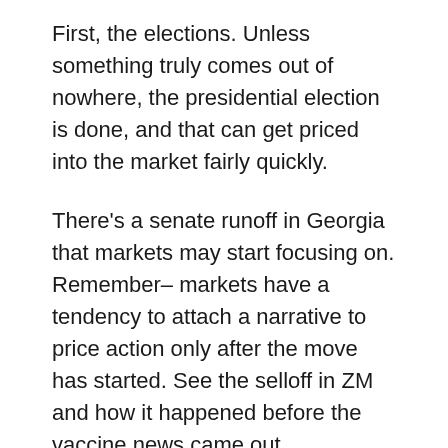First, the elections. Unless something truly comes out of nowhere, the presidential election is done, and that can get priced into the market fairly quickly.
There's a senate runoff in Georgia that markets may start focusing on. Remember– markets have a tendency to attach a narrative to price action only after the move has started. See the selloff in ZM and how it happened before the vaccine news came out.
But that's a ways off, and we've got other near term risks the market is currently focusing on.
The next risk is going to be in a fiscal deal,  if it